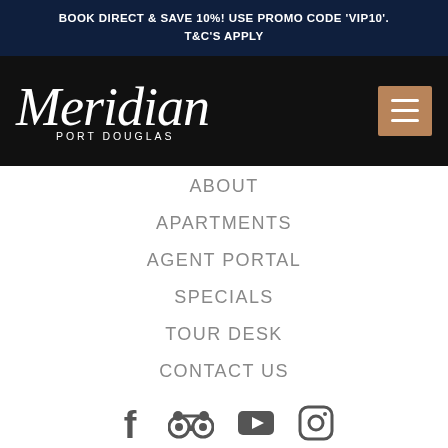BOOK DIRECT & SAVE 10%! USE PROMO CODE 'VIP10'. T&C'S APPLY
[Figure (logo): Meridian Port Douglas logo in white cursive script on black background, with hamburger menu button in brown]
ABOUT
APARTMENTS
AGENT PORTAL
SPECIALS
TOUR DESK
CONTACT US
[Figure (infographic): Social media icons row: Facebook, TripAdvisor, YouTube, Instagram]